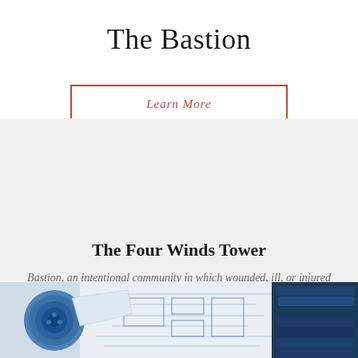The Bastion
Learn More
[Figure (illustration): Light gray rectangular background section placeholder area]
The Four Winds Tower
Bastion, an intentional community in which wounded, ill, or injured veterans live alongside retired.
[Figure (photo): Photo of rolled architectural blueprints on the left and stacked dark blue fabric swatches on the right, with white/beige blueprint plans in the middle]